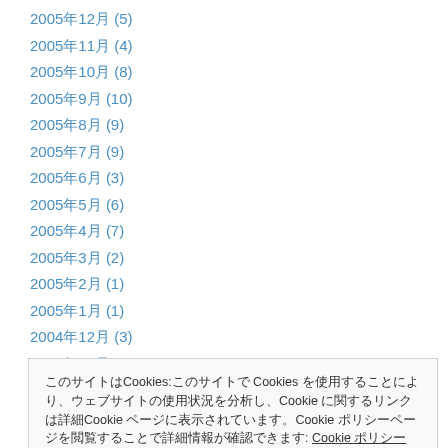2005年12月 (5)
2005年11月 (4)
2005年10月 (8)
2005年9月 (10)
2005年8月 (9)
2005年7月 (9)
2005年6月 (3)
2005年5月 (6)
2005年4月 (7)
2005年3月 (2)
2005年2月 (1)
2005年1月 (1)
2004年12月 (3)
2004年11月 (1)
2004年10月 (2)
このサイトはCookiesを使用しています: このサイトで Cookies を使用することにより、ウェブサイトの使用状況を分析し、Cookie に関する詳細情報のリンク先はCookieポリシーページです。 Cookie ポリシーページ
2004年5月 (2)